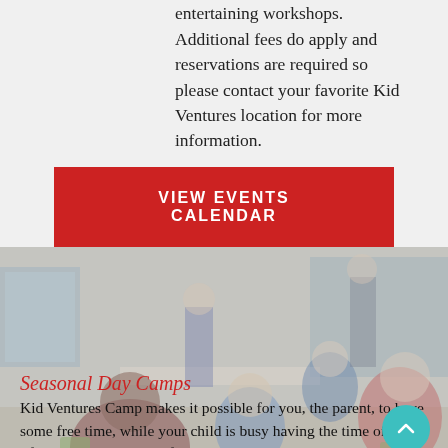entertaining workshops. Additional fees do apply and reservations are required so please contact your favorite Kid Ventures location for more information.
VIEW EVENTS CALENDAR
[Figure (photo): Children sitting at tables in a classroom workshop setting with an instructor, photo faded/greyed out as background image]
Seasonal Day Camps
Kid Ventures Camp makes it possible for you, the parent, to have some free time, while your child is busy having the time of their life! Sign your child up for a day, a week, or longer—depending on YOUR